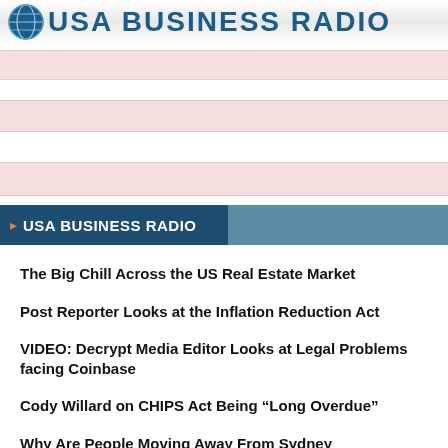[Figure (logo): USA Business Radio logo with globe icon and bold text]
[Figure (other): Advertisement banner strips with pink/white horizontal bands]
USA BUSINESS RADIO
The Big Chill Across the US Real Estate Market
Post Reporter Looks at the Inflation Reduction Act
VIDEO: Decrypt Media Editor Looks at Legal Problems facing Coinbase
Cody Willard on CHIPS Act Being “Long Overdue”
Why Are People Moving Away From Sydney